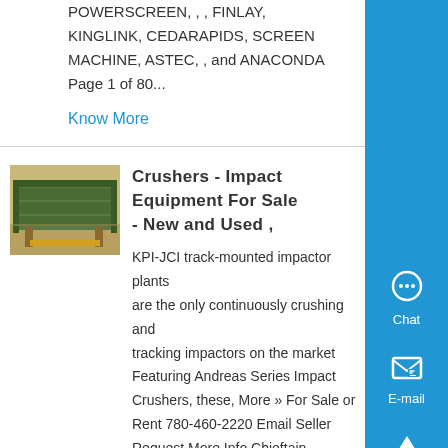POWERSCREEN, , , FINLAY, KINGLINK, CEDARAPIDS, SCREEN MACHINE, ASTEC, , and ANACONDA Page 1 of 80...
Know More
Crushers - Impact Equipment For Sale - New and Used ,
[Figure (photo): Photo of industrial crusher/screening equipment, green metallic machine]
KPI-JCI track-mounted impactor plants are the only continuously crushing and tracking impactors on the market Featuring Andreas Series Impact Crushers, these, More » For Sale or Rent 780-460-2220 Email Seller Request More Info Chieftain Equipment - Aggregates & Mining - Crushers -